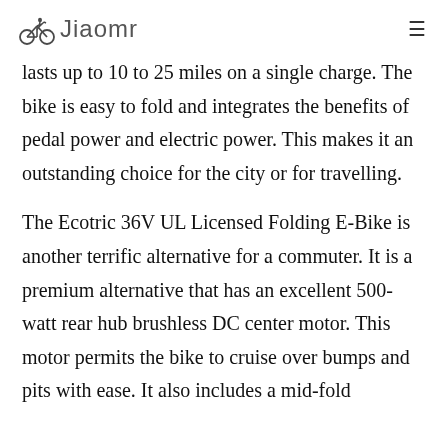Jiaomr
lasts up to 10 to 25 miles on a single charge. The bike is easy to fold and integrates the benefits of pedal power and electric power. This makes it an outstanding choice for the city or for travelling.
The Ecotric 36V UL Licensed Folding E-Bike is another terrific alternative for a commuter. It is a premium alternative that has an excellent 500-watt rear hub brushless DC center motor. This motor permits the bike to cruise over bumps and pits with ease. It also includes a mid-fold